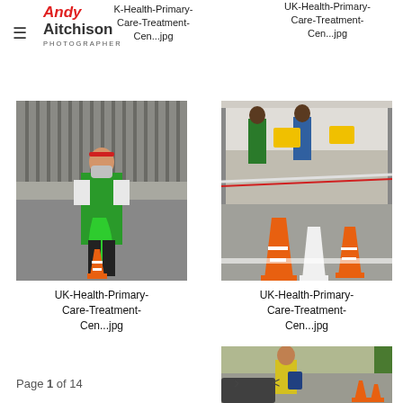≡  Andy Aitchison PHOTOGRAPHER
K-Health-Primary-Care-Treatment-Cen...jpg
UK-Health-Primary-Care-Treatment-Cen...jpg
[Figure (photo): A person wearing a green apron/vest and face mask standing in a car park or outdoor area near metal railings, holding a green bag, with orange traffic cones at their feet.]
[Figure (photo): An outdoor area with orange and white traffic cones arranged in a line, with a tent/canopy structure in the background where workers in protective equipment are visible.]
UK-Health-Primary-Care-Treatment-Cen...jpg
UK-Health-Primary-Care-Treatment-Cen...jpg
[Figure (photo): A person in a high-visibility vest working at what appears to be a drive-through testing or treatment center, with traffic cones and cars visible.]
Page 1 of 14